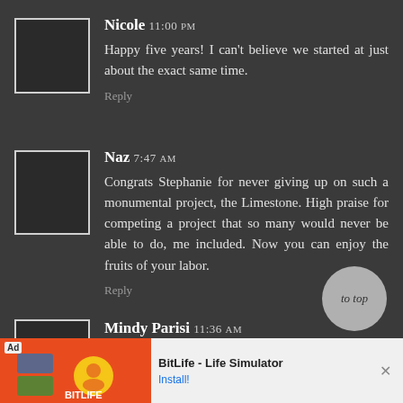Nicole 11:00 PM — Happy five years! I can't believe we started at just about the exact same time. Reply
Naz 7:47 AM — Congrats Stephanie for never giving up on such a monumental project, the Limestone. High praise for competing a project that so many would never be able to do, me included. Now you can enjoy the fruits of your labor. Reply
Mindy Parisi 11:36 AM
[Figure (screenshot): Ad banner for BitLife - Life Simulator app with Install button and close (X) button]